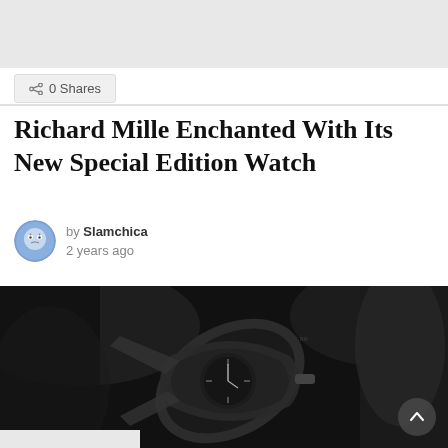[Figure (screenshot): Gray top banner area of a webpage]
0 Shares
Richard Mille Enchanted With Its New Special Edition Watch
by Slamchica
2 years ago
[Figure (photo): Dark black and white photograph of a Richard Mille watch being held, with dramatic low-light photography showing the watch face and case in detail]